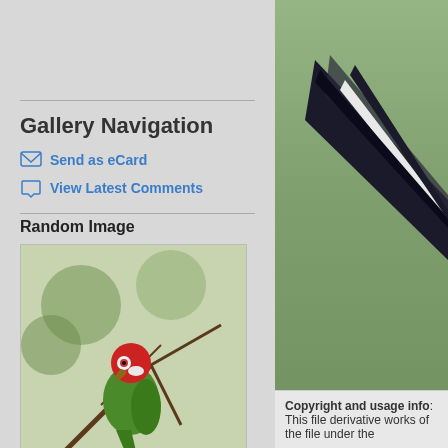Gallery Navigation
Send as eCard
View Latest Comments
Random Image
[Figure (photo): Green parrot (Red-masked Parakeet) perched on branches]
Red-masked Parakeet
[Figure (photo): Close-up of dark bird feathers/wing against green background]
Copyright and usage info: This file derivative works of the file under the
Photo Properties
summary  details
| Make |  | Mo |
| --- | --- | --- |
| Make | Canon | Mo |